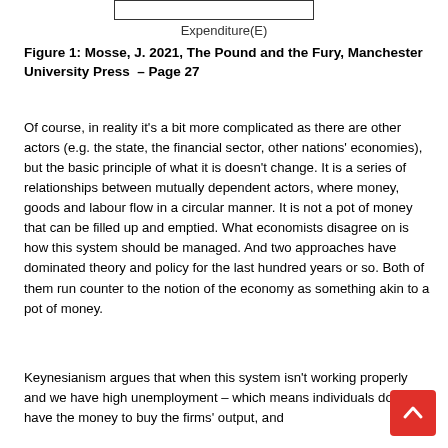[Figure (other): Top portion of a diagram showing a box with label 'Expenditure(E)' beneath it, part of a circular flow diagram.]
Figure 1: Mosse, J. 2021, The Pound and the Fury, Manchester University Press – Page 27
Of course, in reality it's a bit more complicated as there are other actors (e.g. the state, the financial sector, other nations' economies), but the basic principle of what it is doesn't change. It is a series of relationships between mutually dependent actors, where money, goods and labour flow in a circular manner. It is not a pot of money that can be filled up and emptied. What economists disagree on is how this system should be managed. And two approaches have dominated theory and policy for the last hundred years or so. Both of them run counter to the notion of the economy as something akin to a pot of money.
Keynesianism argues that when this system isn't working properly and we have high unemployment – which means individuals don't have the money to buy the firms' output, and